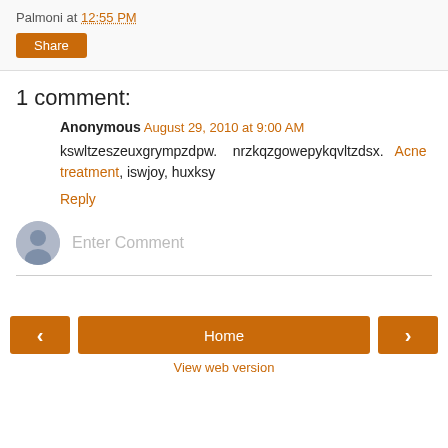Palmoni at 12:55 PM
Share
1 comment:
Anonymous  August 29, 2010 at 9:00 AM
kswltzeszeuxgrympzdpw.   nrzkqzgowepykqvltzdsx.  Acne treatment, iswjoy, huxksy
Reply
Enter Comment
Home
View web version